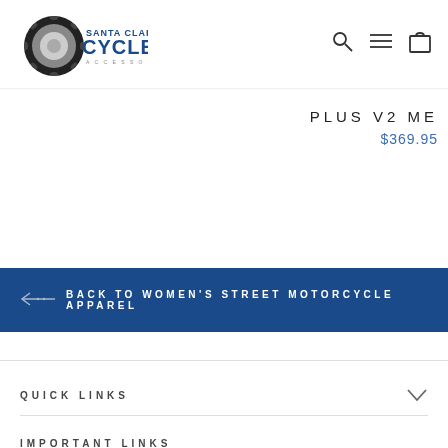[Figure (logo): Santa Clara Cycle logo with tire image and text]
PLUS V2 ME
$369.95
← BACK TO WOMEN'S STREET MOTORCYCLE APPAREL
QUICK LINKS
IMPORTANT LINKS